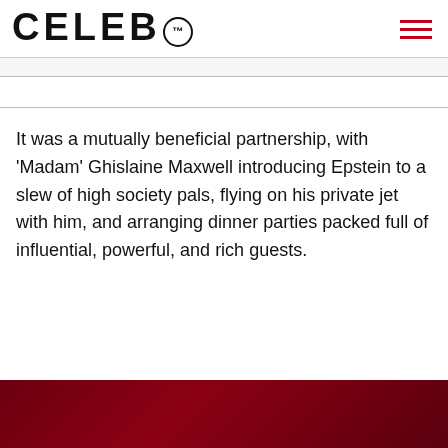CELEB™
It was a mutually beneficial partnership, with 'Madam' Ghislaine Maxwell introducing Epstein to a slew of high society pals, flying on his private jet with him, and arranging dinner parties packed full of influential, powerful, and rich guests.
[Figure (other): Dark red/maroon textured background block at the bottom of the page]